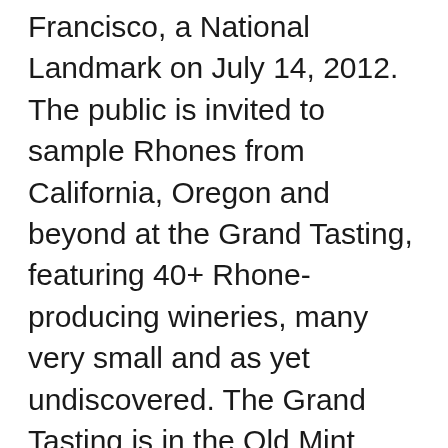Francisco, a National Landmark on July 14, 2012. The public is invited to sample Rhones from California, Oregon and beyond at the Grand Tasting, featuring 40+ Rhone-producing wineries, many very small and as yet undiscovered. The Grand Tasting is in the Old Mint Vaults, where much of the nation's currency was produced until World War II. Attendees will blind taste 40 of the finalists from the 2012 Rhone Shootout, pitting their palates against the experts and voting for their favorites, while enjoying food from local artisan vendors. Many Rhone